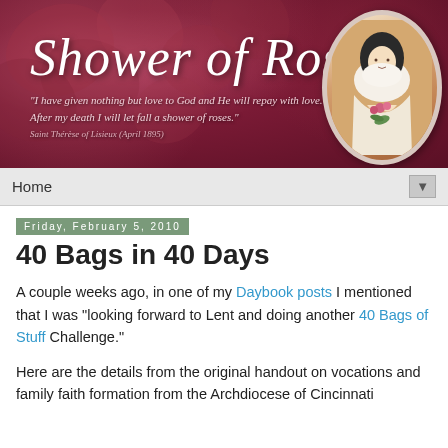[Figure (illustration): Shower of Roses blog banner with dark rose/mauve background showing roses, italic white script title 'Shower of Roses', a quote in italic script, and an oval portrait of Saint Thérèse of Lisieux on the right]
Home ▼
Friday, February 5, 2010
40 Bags in 40 Days
A couple weeks ago, in one of my Daybook posts I mentioned that I was "looking forward to Lent and doing another 40 Bags of Stuff Challenge."
Here are the details from the original handout on vocations and family faith formation from the Archdiocese of Cincinnati